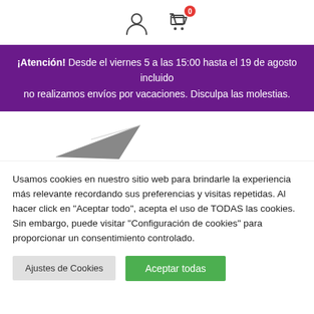[Figure (screenshot): User account icon and shopping cart icon with badge showing 0]
¡Atención! Desde el viernes 5 a las 15:00 hasta el 19 de agosto incluido no realizamos envíos por vacaciones. Disculpa las molestias.
[Figure (illustration): Partial view of a paper airplane logo/graphic]
Usamos cookies en nuestro sitio web para brindarle la experiencia más relevante recordando sus preferencias y visitas repetidas. Al hacer click en "Aceptar todo", acepta el uso de TODAS las cookies. Sin embargo, puede visitar "Configuración de cookies" para proporcionar un consentimiento controlado.
Ajustes de Cookies | Aceptar todas